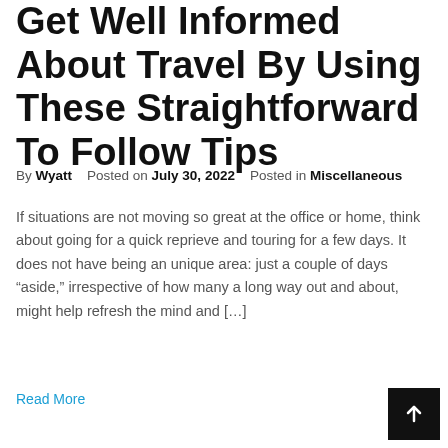Get Well Informed About Travel By Using These Straightforward To Follow Tips
By Wyatt   Posted on July 30, 2022   Posted in Miscellaneous
If situations are not moving so great at the office or home, think about going for a quick reprieve and touring for a few days. It does not have being an unique area: just a couple of days “aside,” irrespective of how many a long way out and about, might help refresh the mind and […]
Read More